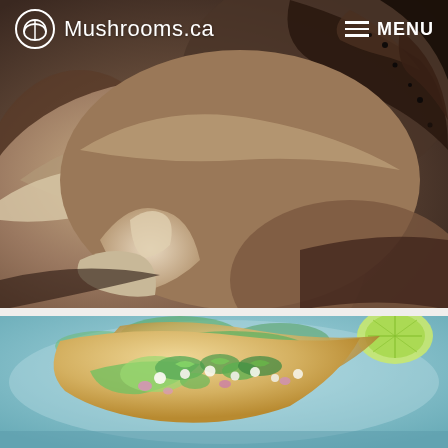[Figure (photo): Close-up photograph of fresh mushrooms, showing brown caps and stems, with detailed texture visible]
Mushrooms.ca   MENU
[Figure (photo): Photograph of tacos on a blue plate, filled with mushrooms, avocado, herbs (cilantro), crumbled cheese, and garnished with lime]